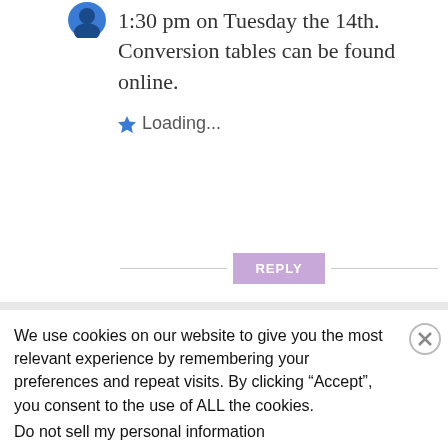1:30 pm on Tuesday the 14th. Conversion tables can be found online.
Loading...
REPLY
We use cookies on our website to give you the most relevant experience by remembering your preferences and repeat visits. By clicking “Accept”, you consent to the use of ALL the cookies.
Do not sell my personal information
[Figure (other): Bloomingdales advertisement banner: logo, tagline 'View Today's Top Deals!', model photo with hat, 'SHOP NOW >' button]